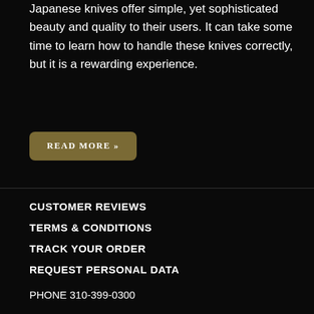Japanese knives offer simple, yet sophisticated beauty and quality to their users. It can take some time to learn how to handle these knives correctly, but it is a rewarding experience.
READ MORE »
CUSTOMER REVIEWS
TERMS & CONDITIONS
TRACK YOUR ORDER
REQUEST PERSONAL DATA
PHONE 310-399-0300